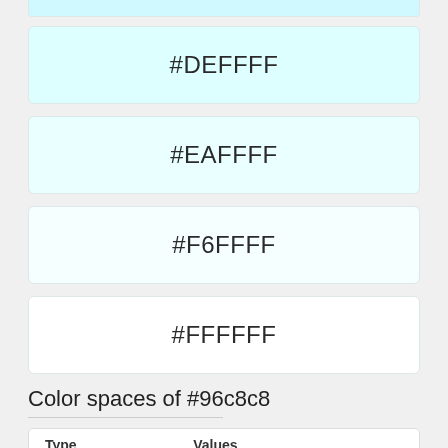[Figure (other): Color swatch card showing color #DEFFFF — a very light cyan background with hex code label]
#DEFFFF
[Figure (other): Color swatch card showing color #EAFFFF — a very light cyan background with hex code label]
#EAFFFF
[Figure (other): Color swatch card showing color #F6FFFF — a near-white cyan background with hex code label]
#F6FFFF
[Figure (other): Color swatch card showing color #FFFFFF — white background with hex code label]
#FFFFFF
Color spaces of #96c8c8
| Type | Values |
| --- | --- |